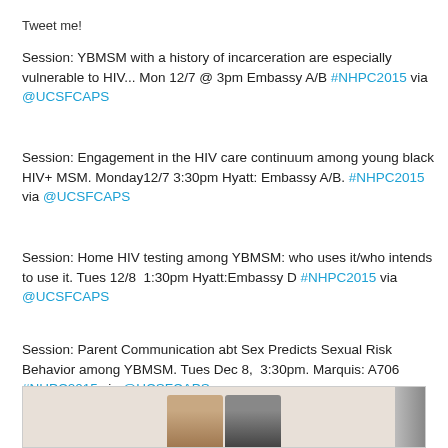Tweet me!
Session: YBMSM with a history of incarceration are especially vulnerable to HIV... Mon 12/7 @ 3pm Embassy A/B #NHPC2015 via @UCSFCAPS
Session: Engagement in the HIV care continuum among young black HIV+ MSM. Monday12/7 3:30pm Hyatt: Embassy A/B. #NHPC2015 via @UCSFCAPS
Session: Home HIV testing among YBMSM: who uses it/who intends to use it. Tues 12/8  1:30pm Hyatt:Embassy D #NHPC2015 via @UCSFCAPS
Session: Parent Communication abt Sex Predicts Sexual Risk Behavior among YBMSM. Tues Dec 8,  3:30pm. Marquis: A706 #NHPC2015 via @UCSFCAPS
[Figure (photo): Two people posing together for a photo, partially visible at the bottom of the page]